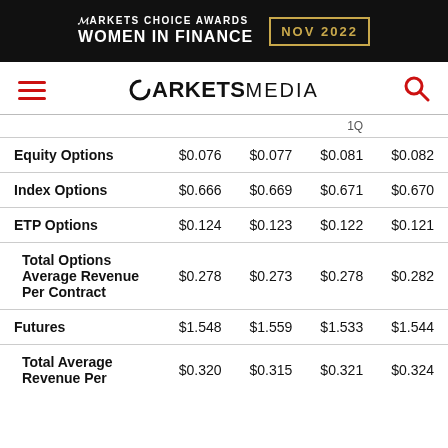[Figure (logo): Markets Choice Awards Women in Finance NOV 2022 banner on black background with gold border]
MARKETS MEDIA navigation bar with hamburger menu and search icon
|  | Col1 | Col2 | Col3 | Col4 |
| --- | --- | --- | --- | --- |
| Equity Options | $0.076 | $0.077 | $0.081 | $0.082 |
| Index Options | $0.666 | $0.669 | $0.671 | $0.670 |
| ETP Options | $0.124 | $0.123 | $0.122 | $0.121 |
| Total Options Average Revenue Per Contract | $0.278 | $0.273 | $0.278 | $0.282 |
| Futures | $1.548 | $1.559 | $1.533 | $1.544 |
| Total Average Revenue Per | $0.320 | $0.315 | $0.321 | $0.324 |